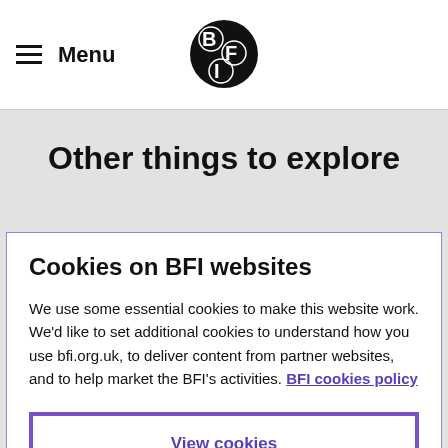≡ Menu | BFI logo
Other things to explore
Cookies on BFI websites
We use some essential cookies to make this website work. We'd like to set additional cookies to understand how you use bfi.org.uk, to deliver content from partner websites, and to help market the BFI's activities. BFI cookies policy
View cookies
Reject cookies
Accept cookies